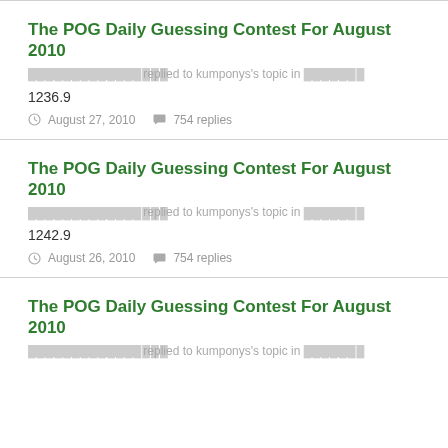The POG Daily Guessing Contest For August 2010
[redacted] replied to kumponys's topic in [redacted]
1236.9
August 27, 2010  754 replies
The POG Daily Guessing Contest For August 2010
[redacted] replied to kumponys's topic in [redacted]
1242.9
August 26, 2010  754 replies
The POG Daily Guessing Contest For August 2010
[redacted] replied to kumponys's topic in [redacted]